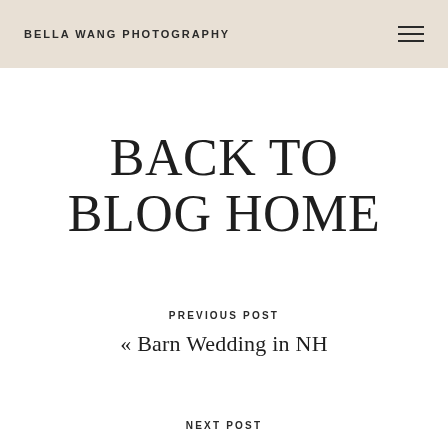BELLA WANG PHOTOGRAPHY
BACK TO BLOG HOME
PREVIOUS POST
« Barn Wedding in NH
NEXT POST